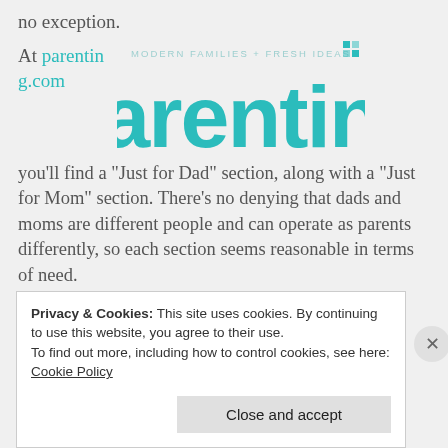no exception.
[Figure (logo): Parenting magazine logo with tagline 'MODERN FAMILIES + FRESH IDEAS' above the large teal word 'parenting']
At parenting.com you'll find a “Just for Dad” section, along with a “Just for Mom” section. There’s no denying that dads and moms are different people and can operate as parents differently, so each section seems reasonable in terms of need.
Privacy & Cookies: This site uses cookies. By continuing to use this website, you agree to their use.
To find out more, including how to control cookies, see here: Cookie Policy
Close and accept